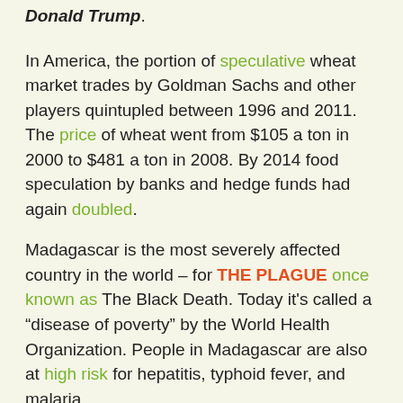Donald Trump.
In America, the portion of speculative wheat market trades by Goldman Sachs and other players quintupled between 1996 and 2011. The price of wheat went from $105 a ton in 2000 to $481 a ton in 2008. By 2014 food speculation by banks and hedge funds had again doubled.
Madagascar is the most severely affected country in the world – for THE PLAGUE once known as The Black Death. Today it's called a “disease of poverty” by the World Health Organization. People in Madagascar are also at high risk for hepatitis, typhoid fever, and malaria.
In America, Silicon Valley billionaires are spending hundreds of millions of dollars to prolong their own lives. Peter Thiel, Larry Ellison, Larry Page and Sergey Brin are some of the